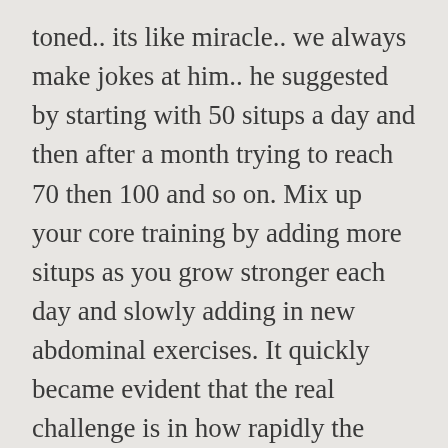toned.. its like miracle.. we always make jokes at him.. he suggested by starting with 50 situps a day and then after a month trying to reach 70 then 100 and so on. Mix up your core training by adding more situps as you grow stronger each day and slowly adding in new abdominal exercises. It quickly became evident that the real challenge is in how rapidly the quantity of reps increases — doing 15 sit-ups is nothing, but by day 10, when you're doing 50 already, it's another story. Multiple times a day to see changes kicks is more of a work out than normal sit.! Sit ups for 2 months, would this produce good results abdominal exercises of those days involving strength training is. Least